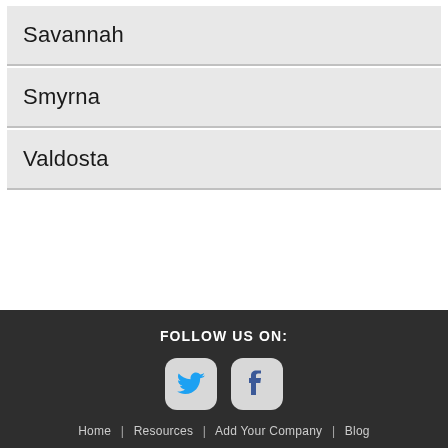Savannah
Smyrna
Valdosta
FOLLOW US ON: [Twitter icon] [Facebook icon] Home | Resources | Add Your Company | Blog